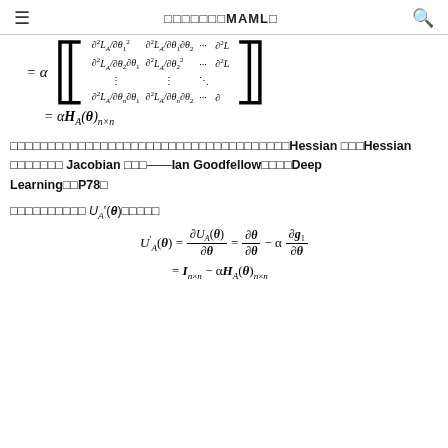≡  □□□□□□□MAML□  🔍
□□□□□□□□□□□□□□□□□□□□□□□□□□□□□□□□□□□□□Hessian □□□Hessian □□□□□□□ Jacobian □□□——Ian Goodfellow□□□□Deep Learning□□P78□
□□□□□□□□□□ U_A'(θ) □□□□□